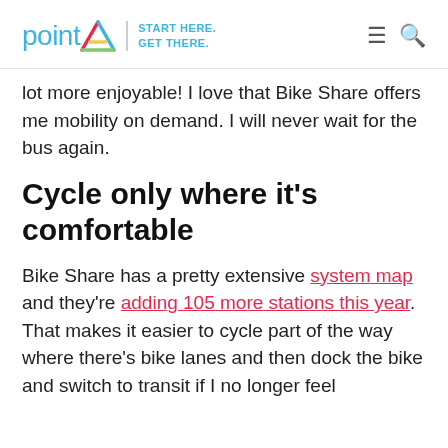pointA | START HERE. GET THERE.
lot more enjoyable! I love that Bike Share offers me mobility on demand. I will never wait for the bus again.
Cycle only where it’s comfortable
Bike Share has a pretty extensive system map and they’re adding 105 more stations this year. That makes it easier to cycle part of the way where there's bike lanes and then dock the bike and switch to transit if I no longer feel